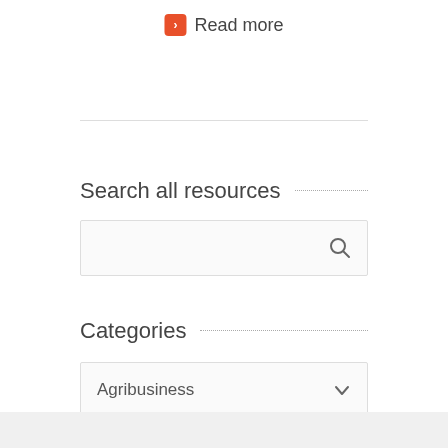Read more
Search all resources
[Figure (other): Search input box with magnifying glass icon]
Categories
[Figure (other): Dropdown selector showing Agribusiness]